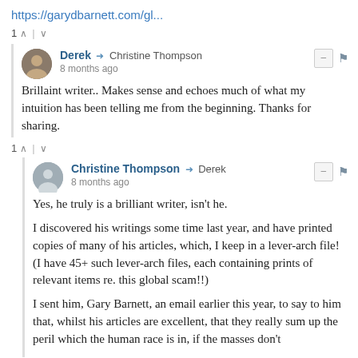https://garydbarnett.com/gl...
1 ↑ | ↓
Derek → Christine Thompson
8 months ago
Brillaint writer.. Makes sense and echoes much of what my intuition has been telling me from the beginning. Thanks for sharing.
1 ↑ | ↓
Christine Thompson → Derek
8 months ago
Yes, he truly is a brilliant writer, isn't he.

I discovered his writings some time last year, and have printed copies of many of his articles, which, I keep in a lever-arch file! (I have 45+ such lever-arch files, each containing prints of relevant items re. this global scam!!)

I sent him, Gary Barnett, an email earlier this year, to say to him that, whilst his articles are excellent, that they really sum up the peril which the human race is in, if the masses don't